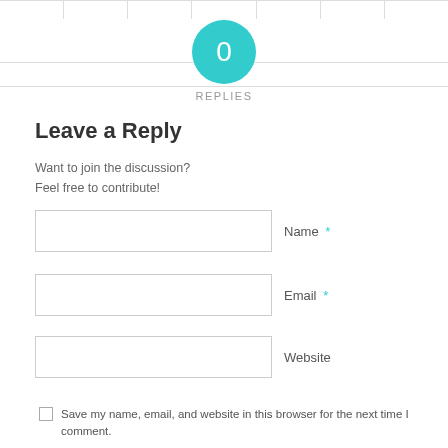[Figure (other): Teal circular badge with '0' in white text, centered on the page header area]
REPLIES
Leave a Reply
Want to join the discussion?
Feel free to contribute!
Name *
Email *
Website
Save my name, email, and website in this browser for the next time I comment.